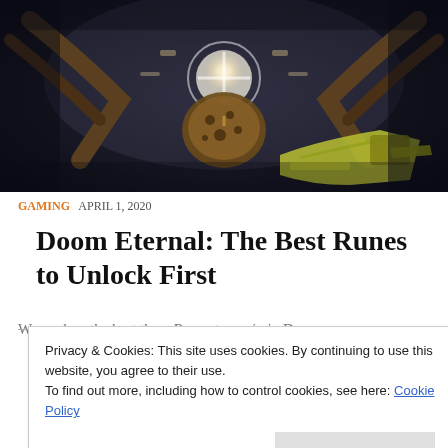[Figure (screenshot): Doom Eternal gameplay screenshot showing demonic creature with glowing orb in dark environment, first-person view with weapon visible]
GAMING  APRIL 1, 2020
Doom Eternal: The Best Runes to Unlock First
We explore the best three Runes to equip in Doom
Privacy & Cookies: This site uses cookies. By continuing to use this website, you agree to their use.
To find out more, including how to control cookies, see here: Cookie Policy